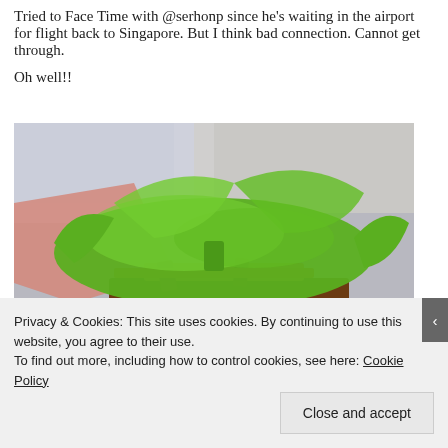Tried to Face Time with @serhonp since he's waiting in the airport for flight back to Singapore. But I think bad connection. Cannot get through.
Oh well!!
[Figure (photo): Photo of a burger or sandwich with large green lettuce leaves, a meat patty, and what appears to be bacon or grilled meat strips, on a dark bun. Background shows white plastic bags.]
Privacy & Cookies: This site uses cookies. By continuing to use this website, you agree to their use.
To find out more, including how to control cookies, see here: Cookie Policy
Close and accept